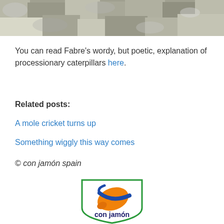[Figure (photo): Gray rocky or gravelly texture close-up photo strip at the top of the page]
You can read Fabre's wordy, but poetic, explanation of processionary caterpillars here.
Related posts:
A mole cricket turns up
Something wiggly this way comes
© con jamón spain
[Figure (logo): Con jamón Spain logo: shield outline in green with an orange ham leg and blue ribbon/stripe, text 'con jamón' below in dark blue]